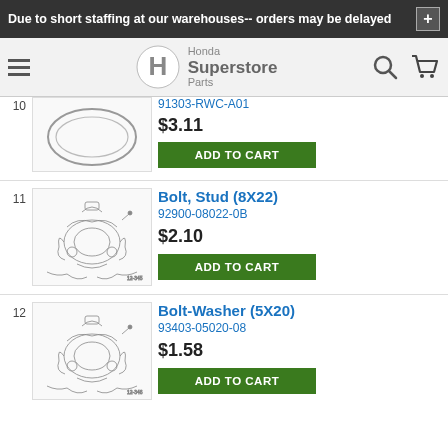Due to short staffing at our warehouses-- orders may be delayed
[Figure (logo): Honda Superstore Parts logo with hamburger menu, search icon, and cart icon]
91303-RWC-A01
$3.11
ADD TO CART
11
[Figure (illustration): Technical line drawing of bolt stud part 8X22 in engine assembly context]
Bolt, Stud (8X22)
92900-08022-0B
$2.10
ADD TO CART
12
[Figure (illustration): Technical line drawing of bolt-washer part 5X20 in engine assembly context]
Bolt-Washer (5X20)
93403-05020-08
$1.58
ADD TO CART